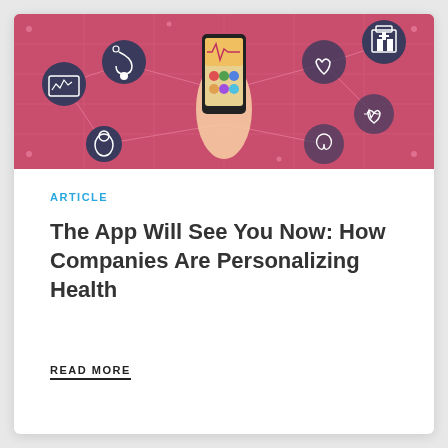[Figure (illustration): Pink banner illustration showing a hand holding a smartphone with health app, surrounded by circular icons depicting various medical and health symbols such as heartbeat monitor, stethoscope, hospital, heart rate, and other healthcare icons connected by lines on a pink/rose background.]
ARTICLE
The App Will See You Now: How Companies Are Personalizing Health
READ MORE